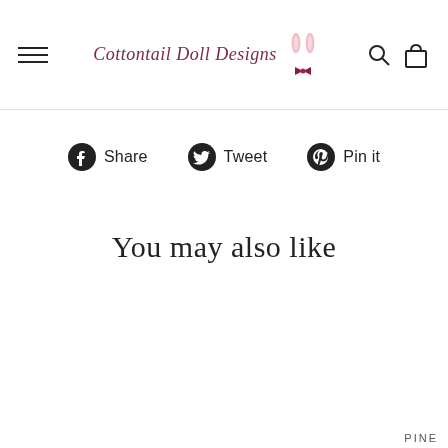Cottontail Doll Designs
Share  Tweet  Pin it
You may also like
PINE